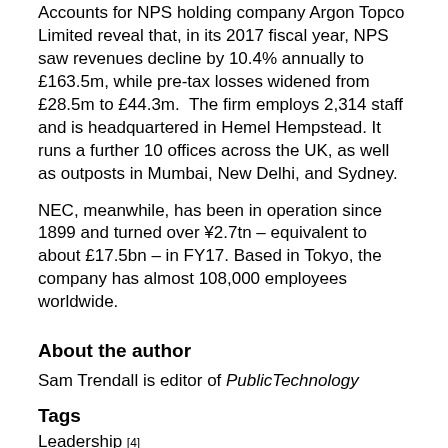Accounts for NPS holding company Argon Topco Limited reveal that, in its 2017 fiscal year, NPS saw revenues decline by 10.4% annually to £163.5m, while pre-tax losses widened from £28.5m to £44.3m. The firm employs 2,314 staff and is headquartered in Hemel Hempstead. It runs a further 10 offices across the UK, as well as outposts in Mumbai, New Delhi, and Sydney.
NEC, meanwhile, has been in operation since 1899 and turned over ¥2.7tn – equivalent to about £17.5bn – in FY17. Based in Tokyo, the company has almost 108,000 employees worldwide.
About the author
Sam Trendall is editor of PublicTechnology
Tags
Leadership [4]
Transformation [5]
Categories
Business and industry [6]
Communities, housing and planning [7]
Government and politics [8]